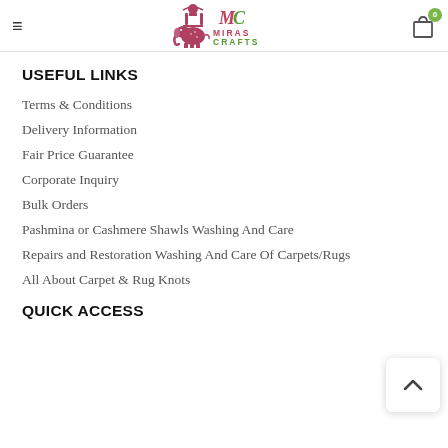Miras Crafts Since 1983 — navigation header with hamburger menu and cart
USEFUL LINKS
Terms & Conditions
Delivery Information
Fair Price Guarantee
Corporate Inquiry
Bulk Orders
Pashmina or Cashmere Shawls Washing And Care
Repairs and Restoration Washing And Care Of Carpets/Rugs
All About Carpet & Rug Knots
QUICK ACCESS